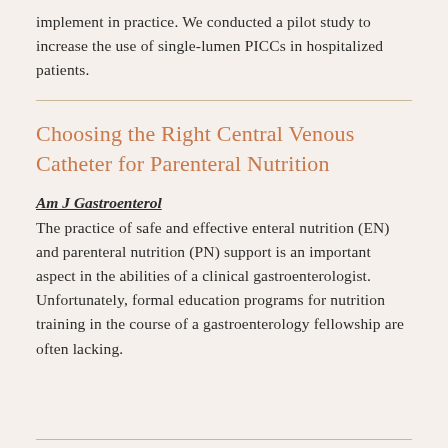implement in practice. We conducted a pilot study to increase the use of single-lumen PICCs in hospitalized patients.
Choosing the Right Central Venous Catheter for Parenteral Nutrition
Am J Gastroenterol
The practice of safe and effective enteral nutrition (EN) and parenteral nutrition (PN) support is an important aspect in the abilities of a clinical gastroenterologist. Unfortunately, formal education programs for nutrition training in the course of a gastroenterology fellowship are often lacking.